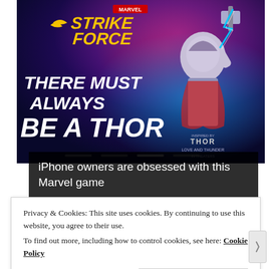[Figure (illustration): Marvel Strike Force game advertisement showing a female Thor character wielding a hammer with blue lightning effects. Text reads 'THERE MUST ALWAYS BE A THOR'. Marvel Strike Force logo at top. Inspired by Thor: Love and Thunder movie logo at bottom right. Purple/blue cosmic background.]
iPhone owners are obsessed with this Marvel game
Privacy & Cookies: This site uses cookies. By continuing to use this website, you agree to their use.
To find out more, including how to control cookies, see here: Cookie Policy